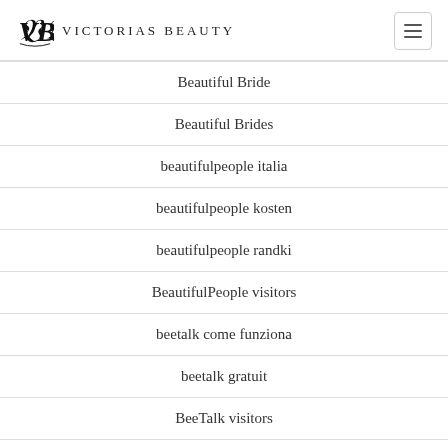Victorias Beauty
Beautiful Bride
Beautiful Brides
beautifulpeople italia
beautifulpeople kosten
beautifulpeople randki
BeautifulPeople visitors
beetalk come funziona
beetalk gratuit
BeeTalk visitors